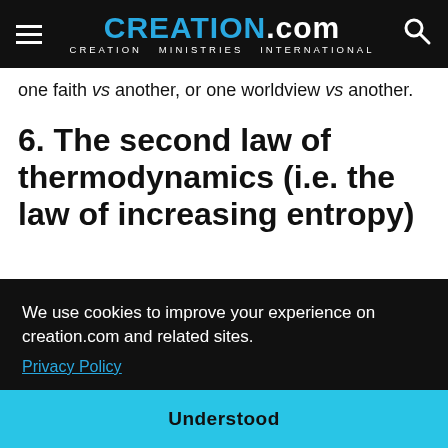CREATION.com - CREATION MINISTRIES INTERNATIONAL
one faith vs another, or one worldview vs another.
6. The second law of thermodynamics (i.e. the law of increasing entropy)
Here the BHA states, “Creationists love to tell us that … [increasing] … BHA, They … ange energy will anything outside of itself”. According to
We use cookies to improve your experience on creation.com and related sites. Privacy Policy
Understood